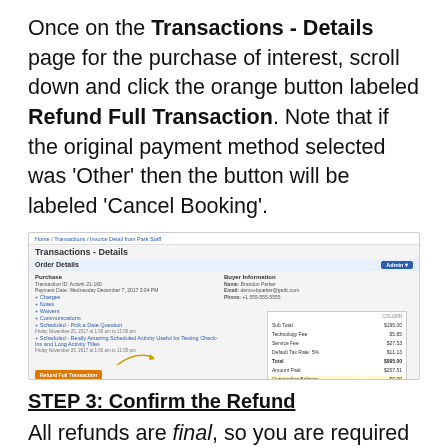Once on the Transactions - Details page for the purchase of interest, scroll down and click the orange button labeled Refund Full Transaction. Note that if the original payment method selected was 'Other' then the button will be labeled 'Cancel Booking'.
[Figure (screenshot): Screenshot of the Transactions - Details page showing Order Details with Purchase and Buyer Information sections, expandable rows for Charges, Notes, Waivers, Communications, and Scheduled activities. An orange 'Refund Full Transaction' button is highlighted with an arrow pointing to it. A summary table on the right shows Sub Total, Technology Fee, Service Fee, Default Tax Rate, Total, Amount Paid, and Outstanding Balance rows.]
STEP 3: Confirm the Refund
All refunds are final, so you are required to confirm that you want to proceed by clicking Ok. You may